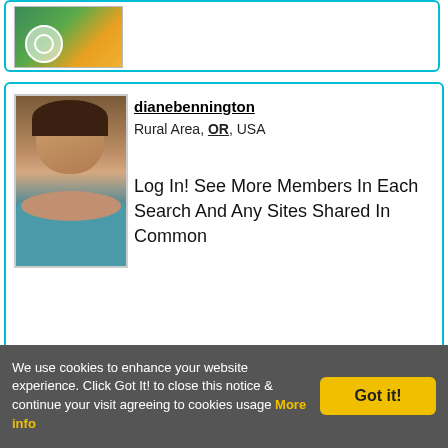[Figure (screenshot): Partial profile card visible at top of page, cropped with image thumbnail visible]
[Figure (photo): Profile photo of a smiling woman wearing a teal tank top]
dianebennington
Rural Area, OR, USA
Log In! See More Members In Each Search And Any Sites Shared In Common
[Figure (screenshot): Bottom partial profile card, cropped at page edge]
We use cookies to enhance your website experience. Click Got It! to close this notice & continue your visit agreeing to cookies usage More info
Got it!